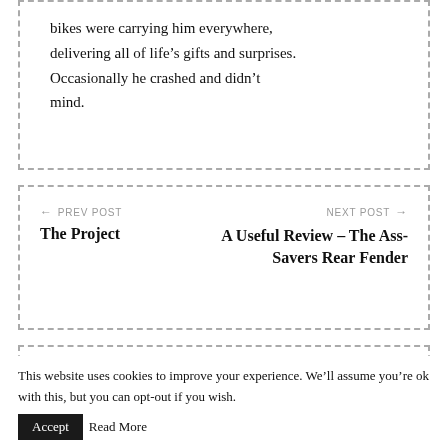bikes were carrying him everywhere, delivering all of life's gifts and surprises. Occasionally he crashed and didn't mind.
← PREV POST
The Project
NEXT POST →
A Useful Review – The Ass-Savers Rear Fender
YOU MIGHT ALSO
This website uses cookies to improve your experience. We'll assume you're ok with this, but you can opt-out if you wish. Accept Read More